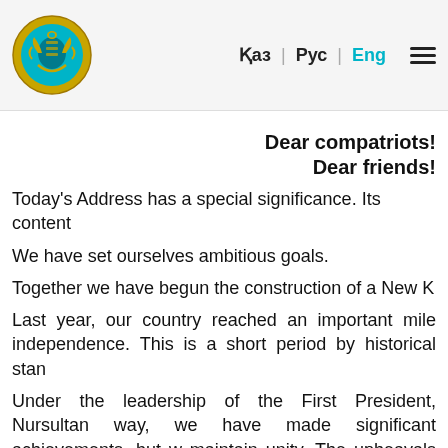[Figure (logo): Kazakhstan government emblem - golden circular seal with ornamental design on teal background]
Қаз | Рус | Eng ☰
Dear compatriots!
Dear friends!
Today's Address has a special significance. Its content
We have set ourselves ambitious goals.
Together we have begun the construction of a New K
Last year, our country reached an important mile independence. This is a short period by historical stan
Under the leadership of the First President, Nursultan way, we have made significant achievements, but w maintain unity. The upheavals at the beginning of the
The events of January shook the society. Our people f with the country's integrity under threat. During th the justice place of independence and happiness i